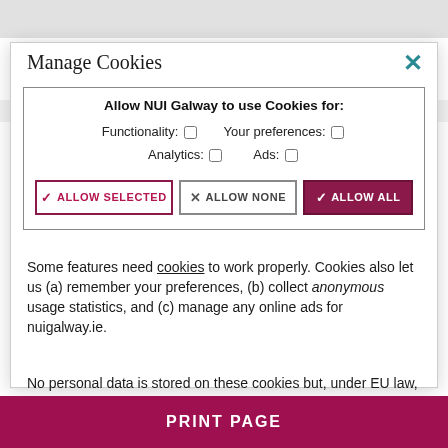Manage Cookies
[Figure (screenshot): Cookie consent dialog for NUI Galway website with checkbox options for Functionality, Your preferences, Analytics, and Ads, plus three buttons: Allow Selected, Allow None, Allow All]
Some features need cookies to work properly. Cookies also let us (a) remember your preferences, (b) collect anonymous usage statistics, and (c) manage any online ads for nuigalway.ie.
No personal data is stored on these cookies but, under EU law, we still need to ask you this every 6 months. To learn more about our use of cookies, view our Privacy Policy.
PRINT PAGE